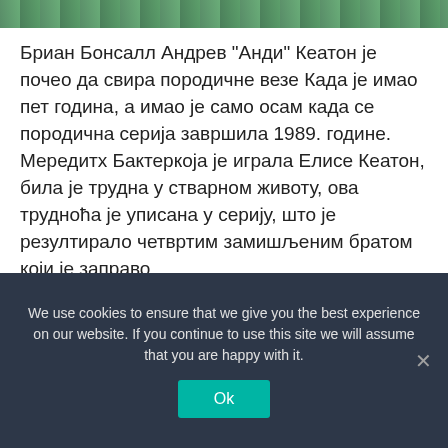[Figure (photo): Partial image strip at top of page showing outdoor/nature scene]
Бриан Бонсалл Андрев "Анди" Кеатон је почео да свира породичне везе Када је имао пет година, а имао је само осам када се породична серија завршила 1989. године. Мередитх Бактеркоја је играла Елисе Кеатон, била је трудна у стварном животу, ова трудноћа је уписана у серију, што је резултирало четвртим замишљеним братом који је заправо ...
Read more
We use cookies to ensure that we give you the best experience on our website. If you continue to use this site we will assume that you are happy with it.